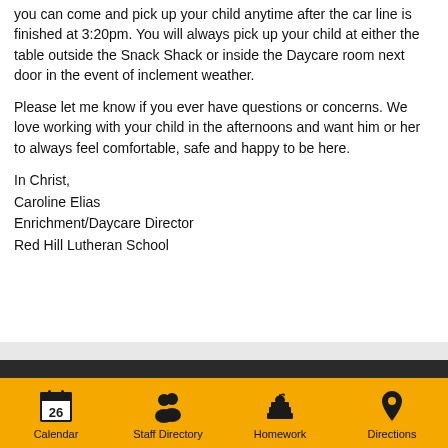you can come and pick up your child anytime after the car line is finished at 3:20pm. You will always pick up your child at either the table outside the Snack Shack or inside the Daycare room next door in the event of inclement weather.
Please let me know if you ever have questions or concerns. We love working with your child in the afternoons and want him or her to always feel comfortable, safe and happy to be here.
In Christ,
Caroline Elias
Enrichment/Daycare Director
Red Hill Lutheran School
Calendar  Staff Directory  Homework  Directions